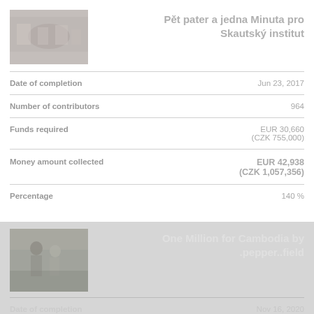[Figure (photo): Indoor gathering scene, people at tables]
Pět pater a jedna Minuta pro Skautský institut
| Field | Value |
| --- | --- |
| Date of completion | Jun 23, 2017 |
| Number of contributors | 964 |
| Funds required | EUR 30,660
(CZK 755,000) |
| Money amount collected | EUR 42,938
(CZK 1,057,356) |
| Percentage | 140 % |
[Figure (photo): Two people outdoors in a garden or field]
One Million for Cambodia by .pepper..field
Date of completion    Nov 16, 2020